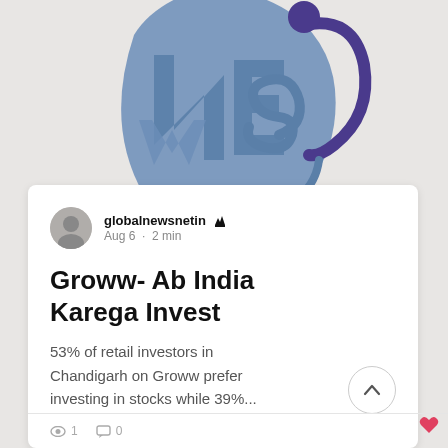[Figure (logo): Global News Net logo — stylized globe/letter forms in steel blue and dark purple, with text NEWS partially visible]
globalnewsnetin 👑
Aug 6 · 2 min
Groww- Ab India Karega Invest
53% of retail investors in Chandigarh on Groww prefer investing in stocks while 39%...